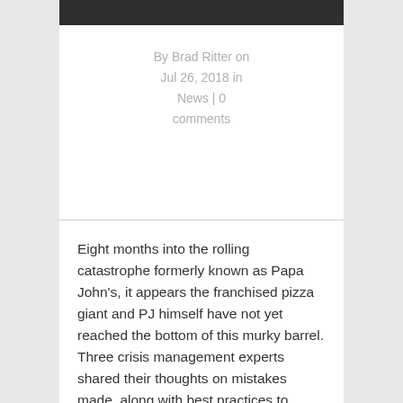By Brad Ritter on Jul 26, 2018 in News | 0 comments
Eight months into the rolling catastrophe formerly known as Papa John's, it appears the franchised pizza giant and PJ himself have not yet reached the bottom of this murky barrel. Three crisis management experts shared their thoughts on mistakes made, along with best practices to